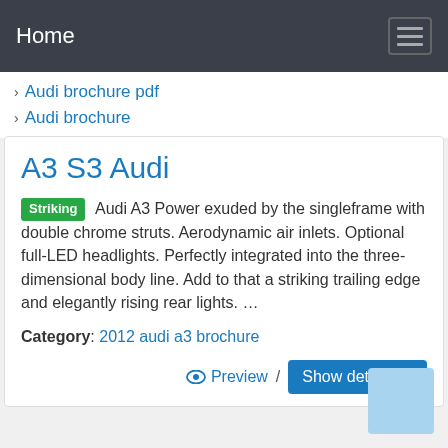Home
Audi brochure pdf
Audi brochure
A3 S3 Audi
Striking Audi A3 Power exuded by the singleframe with double chrome struts. Aerodynamic air inlets. Optional full-LED headlights. Perfectly integrated into the three-dimensional body line. Add to that a striking trailing edge and elegantly rising rear lights. …
Category: 2012 audi a3 brochure
Preview / Show details